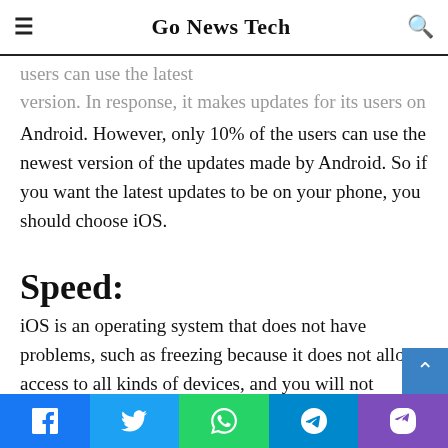Go News Tech
users can use the latest version. In response, it makes updates for its users on Android. However, only 10% of the users can use the newest version of the updates made by Android. So if you want the latest updates to be on your phone, you should choose iOS.
Speed:
iOS is an operating system that does not have problems, such as freezing because it does not allow access to all kinds of devices, and you will not encounter slowdowns no matter how many open applications. The fact that iOS apps created by any app development company California does not include the widget system also positively affects its performance. In fact, the operating system of Android